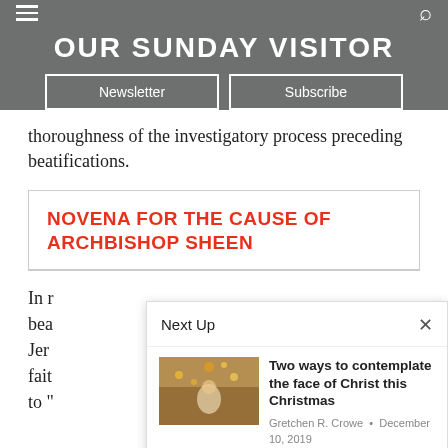OUR SUNDAY VISITOR
thoroughness of the investigatory process preceding beatifications.
NOVENA FOR THE CAUSE OF ARCHBISHOP SHEEN
In r
bea
Jer
fait
to "
[Figure (screenshot): Next Up overlay panel showing article thumbnail and title 'Two ways to contemplate the face of Christ this Christmas' by Gretchen R. Crowe, December 10, 2019]